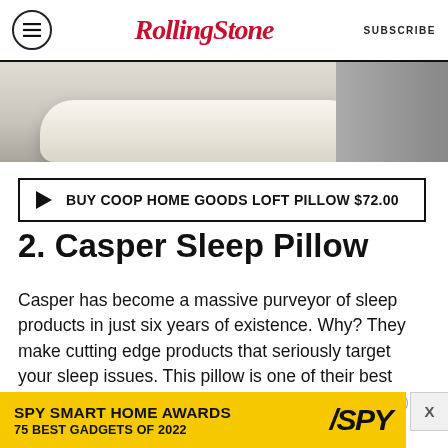Rolling Stone | SUBSCRIBE
[Figure (photo): Partial view of a white fluffy pillow on a dark background]
▶ BUY COOP HOME GOODS LOFT PILLOW $72.00
2. Casper Sleep Pillow
Casper has become a massive purveyor of sleep products in just six years of existence. Why? They make cutting edge products that seriously target your sleep issues. This pillow is one of their best products, with softness, incredible temperature control, and support.
[Figure (infographic): SPY Smart Home Awards advertisement banner: SPY SMART HOME AWARDS 75 BEST GADGETS OF 2022]